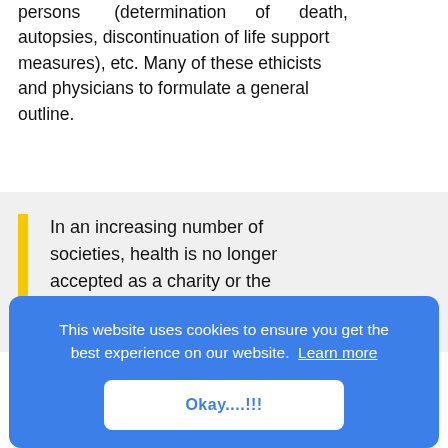persons (determination of death, autopsies, discontinuation of life support measures), etc. Many of these ethicists and physicians to formulate a general outline.
In an increasing number of societies, health is no longer accepted as a charity or the
This website uses cookies to ensure you get the best experience on our website. Learn more
Okay....!!!